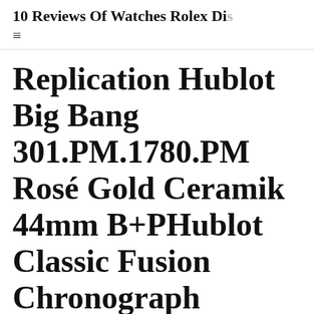10 Reviews Of Watches Rolex Di…
Replication Hublot Big Bang 301.PM.1780.PM Rosé Gold Ceramik 44mm B+PHublot Classic Fusion Chronograph Ceramic 45mm Italia Independent 90% Off
Posted on February 9, 2022 by admin